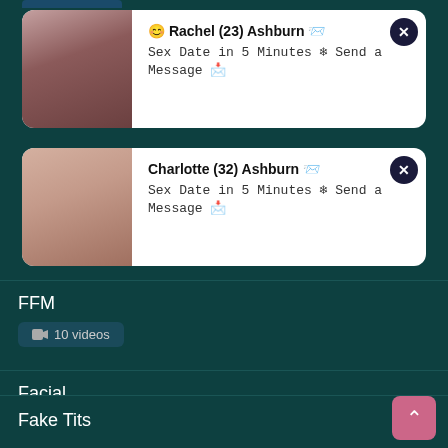[Figure (screenshot): Ad card with photo of woman, Rachel (23) Ashburn, Sex Date in 5 Minutes Send a Message]
[Figure (screenshot): Ad card with photo, Charlotte (32) Ashburn, Sex Date in 5 Minutes Send a Message]
FFM
10 videos
Facial
44 videos
Fake Tits